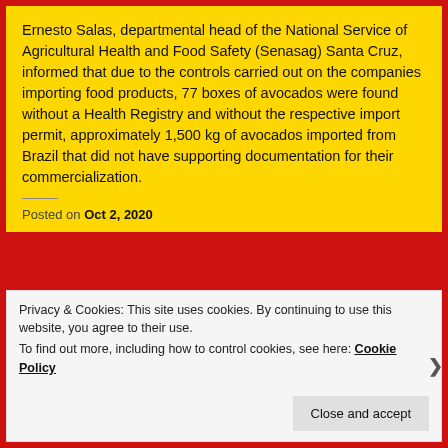Ernesto Salas, departmental head of the National Service of Agricultural Health and Food Safety (Senasag) Santa Cruz, informed that due to the controls carried out on the companies importing food products, 77 boxes of avocados were found without a Health Registry and without the respective import permit, approximately 1,500 kg of avocados imported from Brazil that did not have supporting documentation for their commercialization.
Posted on Oct 2, 2020
Privacy & Cookies: This site uses cookies. By continuing to use this website, you agree to their use. To find out more, including how to control cookies, see here: Cookie Policy